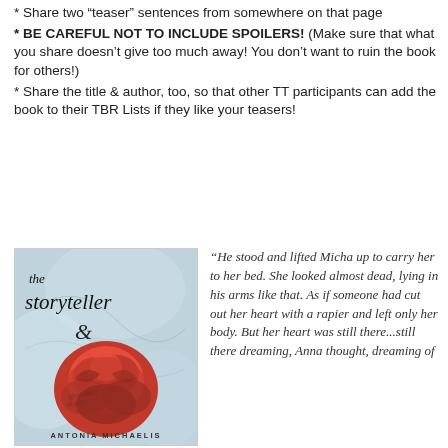* Share two “teaser” sentences from somewhere on that page
* BE CAREFUL NOT TO INCLUDE SPOILERS! (Make sure that what you share doesn’t give too much away! You don’t want to ruin the book for others!)
* Share the title & author, too, so that other TT participants can add the book to their TBR Lists if they like your teasers!
[Figure (illustration): Book cover of 'The Storyteller' by Antonia Michaelis, featuring a light blue/teal background with a large red rose and decorative swirl, title in italic serif font.]
"He stood and lifted Micha up to carry her to her bed. She looked almost dead, lying in his arms like that. As if someone had cut out her heart with a rapier and left only her body. But her heart was still there...still there dreaming, Anna thought, dreaming of